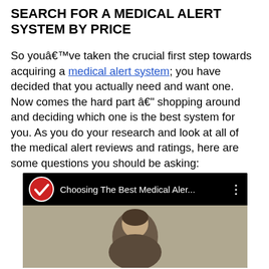SEARCH FOR A MEDICAL ALERT SYSTEM BY PRICE
So youâ€™ve taken the crucial first step towards acquiring a medical alert system; you have decided that you actually need and want one. Now comes the hard part â€“ shopping around and deciding which one is the best system for you. As you do your research and look at all of the medical alert reviews and ratings, here are some questions you should be asking:
[Figure (screenshot): Embedded video thumbnail with black top bar showing a red and white checkmark logo icon, the title 'Choosing The Best Medical Aler...' in white text, and a three-dot menu icon. Below is a video thumbnail showing a person's head/face against a light background.]